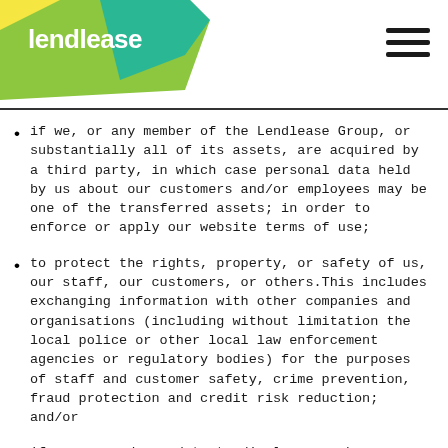lendlease
if we, or any member of the Lendlease Group, or substantially all of its assets, are acquired by a third party, in which case personal data held by us about our customers and/or employees may be one of the transferred assets; in order to enforce or apply our website terms of use;
to protect the rights, property, or safety of us, our staff, our customers, or others. This includes exchanging information with other companies and organisations (including without limitation the local police or other local law enforcement agencies or regulatory bodies) for the purposes of staff and customer safety, crime prevention, fraud protection and credit risk reduction; and/or
if we are under a duty to disclose or share your personal